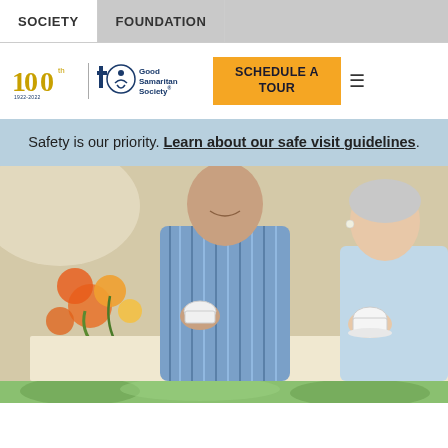SOCIETY | FOUNDATION
[Figure (logo): Good Samaritan Society 100th anniversary logo and hamburger menu with Schedule a Tour CTA button]
Safety is our priority. Learn about our safe visit guidelines.
[Figure (photo): Elderly man in blue striped shirt and elderly woman in light blue top sharing tea at a table with orange flowers]
[Figure (photo): Bottom strip of a green outdoor scene]